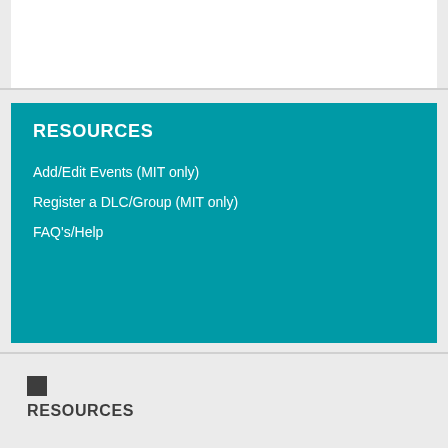RESOURCES
Add/Edit Events (MIT only)
Register a DLC/Group (MIT only)
FAQ's/Help
RESOURCES